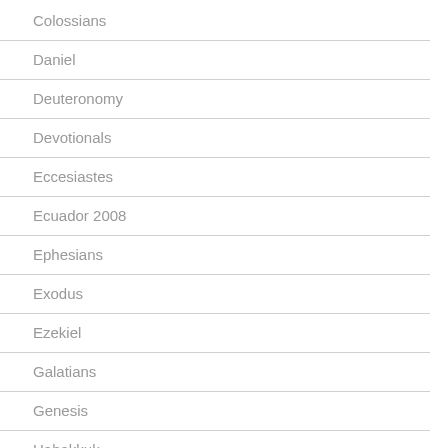Colossians
Daniel
Deuteronomy
Devotionals
Eccesiastes
Ecuador 2008
Ephesians
Exodus
Ezekiel
Galatians
Genesis
Habakkuk